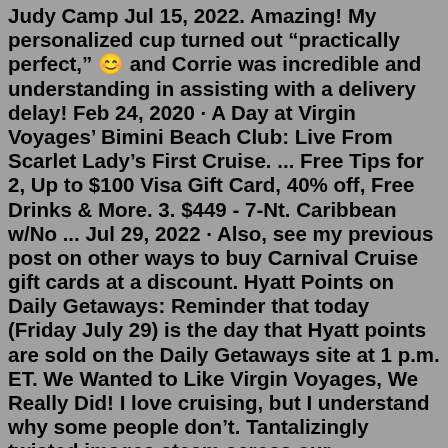Judy Camp Jul 15, 2022. Amazing! My personalized cup turned out "practically perfect," 😊 and Corrie was incredible and understanding in assisting with a delivery delay! Feb 24, 2020 · A Day at Virgin Voyages' Bimini Beach Club: Live From Scarlet Lady's First Cruise. ... Free Tips for 2, Up to $100 Visa Gift Card, 40% off, Free Drinks & More. 3. $449 - 7-Nt. Caribbean w/No ... Jul 29, 2022 · Also, see my previous post on other ways to buy Carnival Cruise gift cards at a discount. Hyatt Points on Daily Getaways: Reminder that today (Friday July 29) is the day that Hyatt points are sold on the Daily Getaways site at 1 p.m. ET. We Wanted to Like Virgin Voyages, We Really Did! I love cruising, but I understand why some people don't. Tantalizingly twisted images steam across our Extraordinary Voyages Gift Wrap paper. Surrealistic steamers and bizarre balloons, flying machines, floating machines, a grinning anchor and a giant fish commingle to create a steampunk dream. Captivating images on a soft ivory background make for an interesting